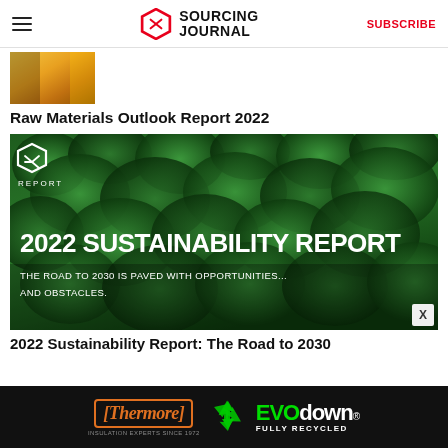Sourcing Journal — SUBSCRIBE
[Figure (photo): Partial image of raw materials (golden/amber liquid or material), cropped thumbnail]
Raw Materials Outlook Report 2022
[Figure (photo): 2022 Sustainability Report cover image showing aerial view of dense green forest with white text: '2022 SUSTAINABILITY REPORT' and subtitle 'THE ROAD TO 2030 IS PAVED WITH OPPORTUNITIES... AND OBSTACLES.' Sourcing Journal Report logo in top-left corner.]
2022 Sustainability Report: The Road to 2030
[Figure (other): Advertisement banner: Thermore Insulation Experts Since 1972 — EVO down FULLY RECYCLED]